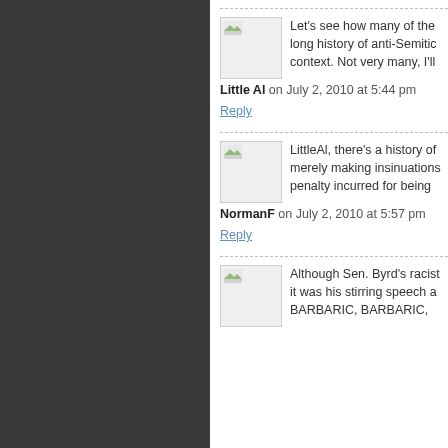Let's see how many of the long history of anti-Semitic context. Not very many, I'll
Little Al on July 2, 2010 at 5:44 pm
Reply
LittleAl, there's a history of merely making insinuations penalty incurred for being
NormanF on July 2, 2010 at 5:57 pm
Reply
Although Sen. Byrd's racist it was his stirring speech a BARBARIC, BARBARIC,